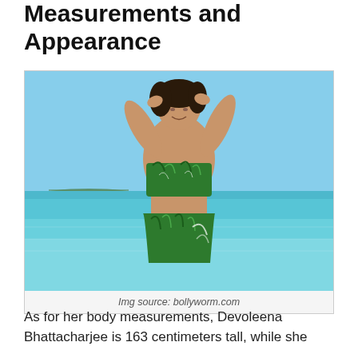Measurements and Appearance
[Figure (photo): Woman in a green tropical-print bandeau top and skirt standing in shallow turquoise ocean water with arms raised behind her head, eyes closed, smiling. Clear blue sky in background.]
Img source: bollyworm.com
As for her body measurements, Devoleena Bhattacharjee is 163 centimeters tall, while she